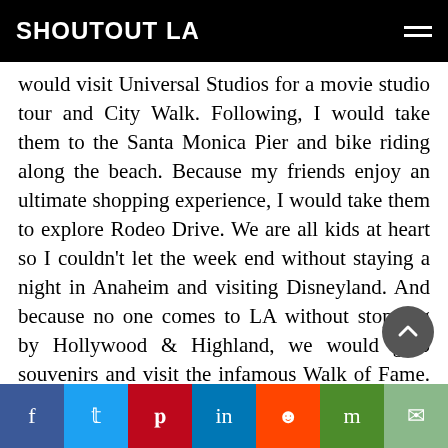SHOUTOUT LA
would visit Universal Studios for a movie studio tour and City Walk. Following, I would take them to the Santa Monica Pier and bike riding along the beach. Because my friends enjoy an ultimate shopping experience, I would take them to explore Rodeo Drive. We are all kids at heart so I couldn't let the week end without staying a night in Anaheim and visiting Disneyland. And because no one comes to LA without stopping by Hollywood & Highland, we would grab souvenirs and visit the infamous Walk of Fame. For our last dinner, we would have some fun riding the mechanical bull at Saddle Ranch in West Hollywood. And if they weren't tired after